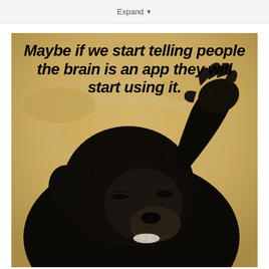Expand
[Figure (photo): A chimpanzee scratching its head with one hand raised to its forehead, appearing to be thinking or puzzled. The background is a blurred beige/tan outdoor scene. Bold black italic text overlaid at the top reads: 'Maybe if we start telling people the brain is an app they will start using it.']